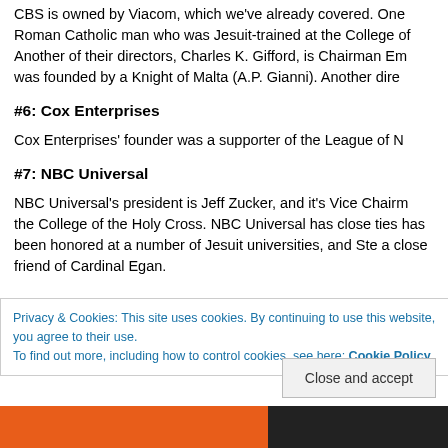CBS is owned by Viacom, which we've already covered. One Roman Catholic man who was Jesuit-trained at the College of... Another of their directors, Charles K. Gifford, is Chairman Em... was founded by a Knight of Malta (A.P. Gianni). Another dire...
#6: Cox Enterprises
Cox Enterprises' founder was a supporter of the League of N...
#7: NBC Universal
NBC Universal's president is Jeff Zucker, and it's Vice Chairm... the College of the Holy Cross. NBC Universal has close ties... has been honored at a number of Jesuit universities, and Ste... a close friend of Cardinal Egan.
Privacy & Cookies: This site uses cookies. By continuing to use this website, you agree to their use.
To find out more, including how to control cookies, see here: Cookie Policy